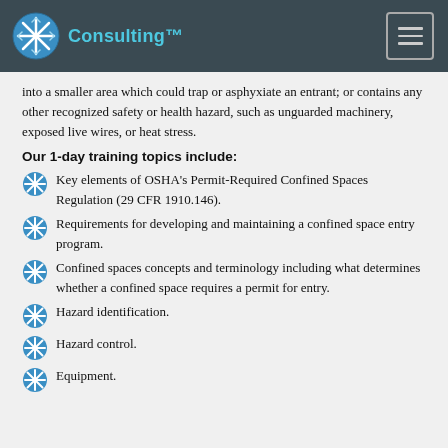Consulting™
into a smaller area which could trap or asphyxiate an entrant; or contains any other recognized safety or health hazard, such as unguarded machinery, exposed live wires, or heat stress.
Our 1-day training topics include:
Key elements of OSHA's Permit-Required Confined Spaces Regulation (29 CFR 1910.146).
Requirements for developing and maintaining a confined space entry program.
Confined spaces concepts and terminology including what determines whether a confined space requires a permit for entry.
Hazard identification.
Hazard control.
Equipment.